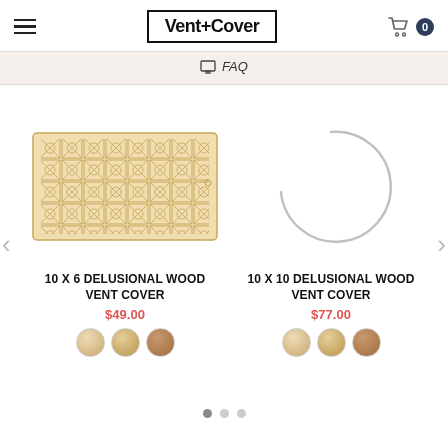Vent+Cover
FAQ
[Figure (photo): 10 X 6 Delusional Wood Vent Cover product image showing a decorative laser-cut wood vent cover with geometric/cane pattern]
10 X 6 DELUSIONAL WOOD VENT COVER
$49.00
[Figure (photo): 10 X 10 Delusional Wood Vent Cover — loading spinner/partial circle shown instead of product image]
10 X 10 DELUSIONAL WOOD VENT COVER
$77.00